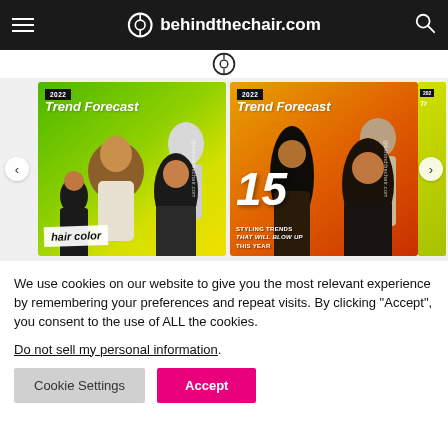behindthechair.com
[Figure (screenshot): Website screenshot showing behindthechair.com header with logo, hamburger menu, search icon, and a carousel of 2022 Trend Forecast cards — card 1 green/yellow background with hair color topic, card 2 orange/red background with 15 styling trends topic, plus partial third card]
We use cookies on our website to give you the most relevant experience by remembering your preferences and repeat visits. By clicking “Accept”, you consent to the use of ALL the cookies.
Do not sell my personal information.
Cookie Settings  Accept